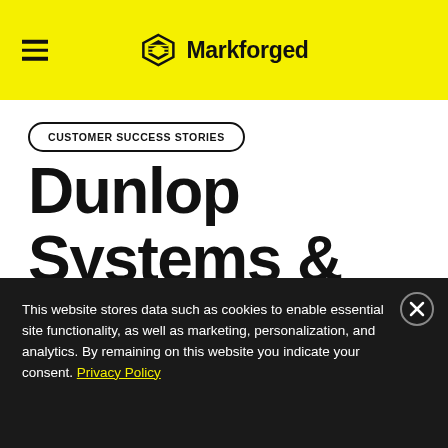Markforged
CUSTOMER SUCCESS STORIES
Dunlop Systems & Components
This website stores data such as cookies to enable essential site functionality, as well as marketing, personalization, and analytics. By remaining on this website you indicate your consent. Privacy Policy